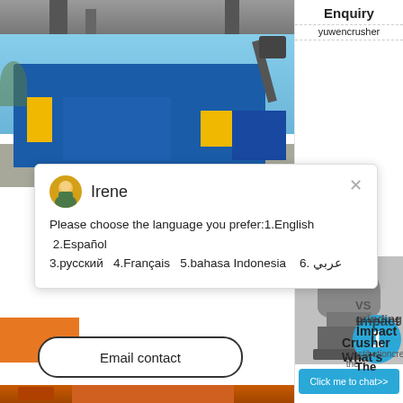[Figure (photo): Top strip showing industrial machinery structure, dark bars/poles]
[Figure (photo): Blue mobile crushing machine outdoors against blue sky with gravel on the ground]
[Figure (screenshot): Chat popup with avatar of agent named Irene asking user to choose language: 1.English 2.Español 3.русский 4.Français 5.bahasa Indonesia 6. عربي]
VS grinding
Impact
Impact Crusher What's
constibetioncreastel the
The
Email contact
[Figure (photo): Industrial cone crusher machine image on right sidebar]
1
Click me to chat>>
[Figure (photo): Orange/red mobile crusher machine at bottom left]
Enquiry
yuwencrusher